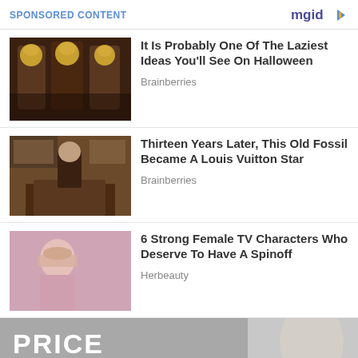SPONSORED CONTENT
[Figure (photo): Three people wearing golden animal masks in suits, Halloween costumes]
It Is Probably One Of The Laziest Ideas You'll See On Halloween
Brainberries
[Figure (photo): Elderly man sitting on a couch in a formal room with wood paneling]
Thirteen Years Later, This Old Fossil Became A Louis Vuitton Star
Brainberries
[Figure (photo): Young girl with straight hair wearing a light pink top, looking at camera]
6 Strong Female TV Characters Who Deserve To Have A Spinoff
Herbeauty
[Figure (photo): Bottom advertisement image with the word PRICE in bold white text on grey background]